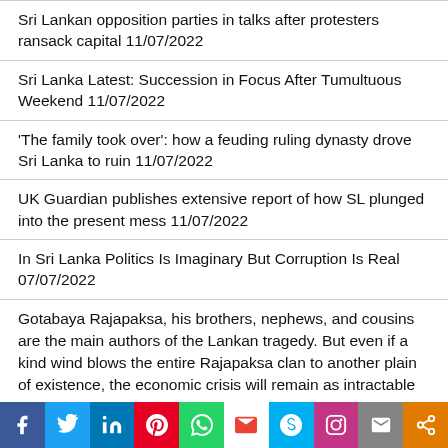Sri Lankan opposition parties in talks after protesters ransack capital 11/07/2022
Sri Lanka Latest: Succession in Focus After Tumultuous Weekend 11/07/2022
'The family took over': how a feuding ruling dynasty drove Sri Lanka to ruin 11/07/2022
UK Guardian publishes extensive report of how SL plunged into the present mess 11/07/2022
In Sri Lanka Politics Is Imaginary But Corruption Is Real 07/07/2022
Gotabaya Rajapaksa, his brothers, nephews, and cousins are the main authors of the Lankan tragedy. But even if a kind wind blows the entire Rajapaksa clan to another plain of existence, the economic crisis will remain as intractable as
[Figure (infographic): Social media sharing buttons bar: Facebook (blue), Twitter (light blue), LinkedIn (dark blue), Pinterest (red), WhatsApp (green), Gmail (white/red), Skype (light blue), Instagram (purple), Email (grey), Share (orange)]